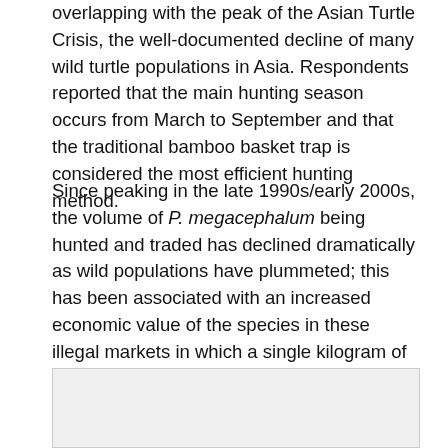overlapping with the peak of the Asian Turtle Crisis, the well-documented decline of many wild turtle populations in Asia. Respondents reported that the main hunting season occurs from March to September and that the traditional bamboo basket trap is considered the most efficient hunting method.
Since peaking in the late 1990s/early 2000s, the volume of P. megacephalum being hunted and traded has declined dramatically as wild populations have plummeted; this has been associated with an increased economic value of the species in these illegal markets in which a single kilogram of the species is worth more than the average local monthly income.
[Figure (other): Gray-background figure box, partially visible at bottom of page]